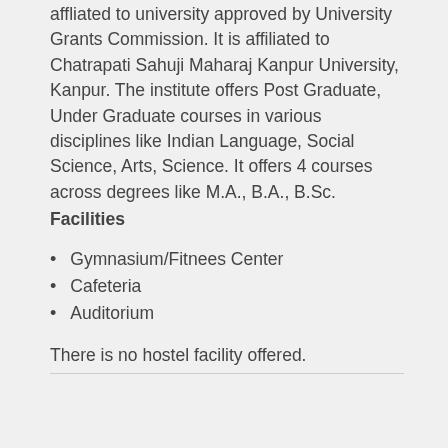affliated to university approved by University Grants Commission. It is affiliated to Chatrapati Sahuji Maharaj Kanpur University, Kanpur. The institute offers Post Graduate, Under Graduate courses in various disciplines like Indian Language, Social Science, Arts, Science. It offers 4 courses across degrees like M.A., B.A., B.Sc.
Facilities
Gymnasium/Fitnees Center
Cafeteria
Auditorium
There is no hostel facility offered.